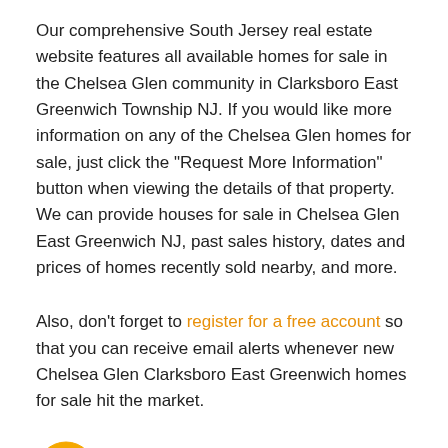Our comprehensive South Jersey real estate website features all available homes for sale in the Chelsea Glen community in Clarksboro East Greenwich Township NJ. If you would like more information on any of the Chelsea Glen homes for sale, just click the "Request More Information" button when viewing the details of that property. We can provide houses for sale in Chelsea Glen East Greenwich NJ, past sales history, dates and prices of homes recently sold nearby, and more.
Also, don't forget to register for a free account so that you can receive email alerts whenever new Chelsea Glen Clarksboro East Greenwich homes for sale hit the market.
Chelsea Glen Clarksboro Real Estate for Sale